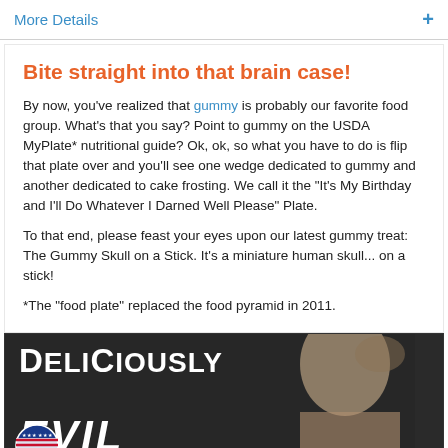More Details +
Bite straight into that brain case!
By now, you've realized that gummy is probably our favorite food group. What's that you say? Point to gummy on the USDA MyPlate* nutritional guide? Ok, ok, so what you have to do is flip that plate over and you'll see one wedge dedicated to gummy and another dedicated to cake frosting. We call it the "It's My Birthday and I'll Do Whatever I Darned Well Please" Plate.
To that end, please feast your eyes upon our latest gummy treat: The Gummy Skull on a Stick. It's a miniature human skull... on a stick!
*The "food plate" replaced the food pyramid in 2011.
[Figure (photo): Dark banner image showing the text 'DELICIOUSLY EVIL' in large bold white letters, with a man's face visible on the right side and a circular badge/logo on the bottom left.]